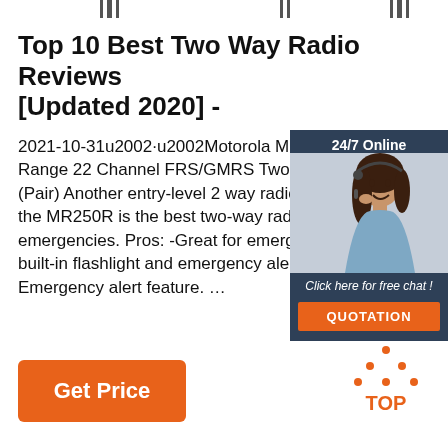[Figure (other): Barcode-like vertical lines at top of page]
Top 10 Best Two Way Radio Reviews [Updated 2020] -
2021-10-31u2002·u2002Motorola MR35… Range 22 Channel FRS/GMRS Two-Wa… (Pair) Another entry-level 2 way radio fro… the MR250R is the best two-way radio fo… emergencies. Pros: -Great for emergenc… built-in flashlight and emergency alert fe… Emergency alert feature. …
[Figure (photo): Advertisement sidebar: woman with headset, '24/7 Online' text, 'Click here for free chat!', orange QUOTATION button]
[Figure (logo): Orange TOP logo with dots forming a triangle shape, bottom right corner]
Get Price